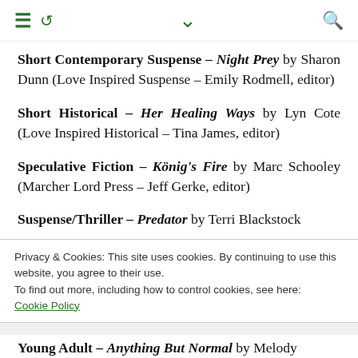≡ ↺ ∨ 🔍
Short Contemporary Suspense – Night Prey by Sharon Dunn (Love Inspired Suspense – Emily Rodmell, editor)
Short Historical – Her Healing Ways by Lyn Cote (Love Inspired Historical – Tina James, editor)
Speculative Fiction – König's Fire by Marc Schooley (Marcher Lord Press – Jeff Gerke, editor)
Suspense/Thriller – Predator by Terri Blackstock
Privacy & Cookies: This site uses cookies. By continuing to use this website, you agree to their use. To find out more, including how to control cookies, see here: Cookie Policy
Close and accept
Young Adult – Anything But Normal by Melody